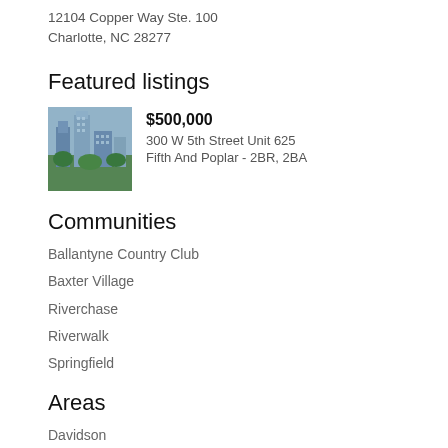12104 Copper Way Ste. 100
Charlotte, NC 28277
Featured listings
[Figure (photo): Aerial photo of urban buildings/skyline with greenery]
$500,000
300 W 5th Street Unit 625
Fifth And Poplar - 2BR, 2BA
Communities
Ballantyne Country Club
Baxter Village
Riverchase
Riverwalk
Springfield
Areas
Davidson
Dilworth